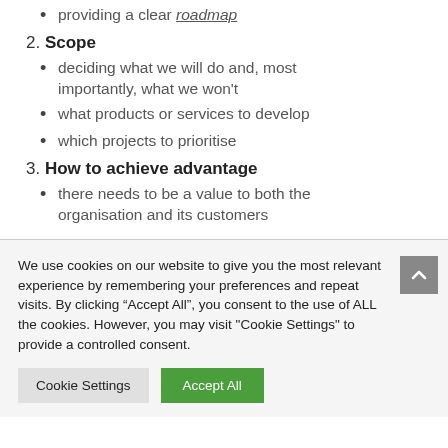providing a clear roadmap
2. Scope
deciding what we will do and, most importantly, what we won't
what products or services to develop
which projects to prioritise
3. How to achieve advantage
there needs to be a value to both the organisation and its customers
We use cookies on our website to give you the most relevant experience by remembering your preferences and repeat visits. By clicking “Accept All”, you consent to the use of ALL the cookies. However, you may visit "Cookie Settings" to provide a controlled consent.